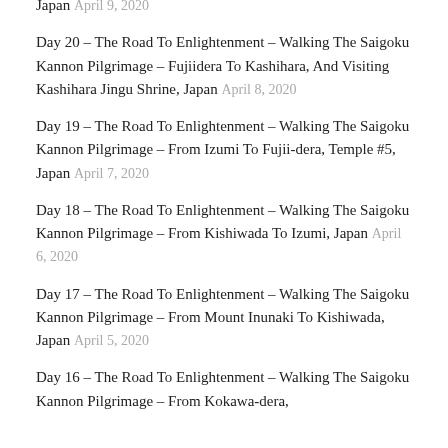Japan April 9, 2020
Day 20 – The Road To Enlightenment – Walking The Saigoku Kannon Pilgrimage – Fujiidera To Kashihara, And Visiting Kashihara Jingu Shrine, Japan April 8, 2020
Day 19 – The Road To Enlightenment – Walking The Saigoku Kannon Pilgrimage – From Izumi To Fujii-dera, Temple #5, Japan April 7, 2020
Day 18 – The Road To Enlightenment – Walking The Saigoku Kannon Pilgrimage – From Kishiwada To Izumi, Japan April 6, 2020
Day 17 – The Road To Enlightenment – Walking The Saigoku Kannon Pilgrimage – From Mount Inunaki To Kishiwada, Japan April 5, 2020
Day 16 – The Road To Enlightenment – Walking The Saigoku Kannon Pilgrimage – From Kokawa-dera,